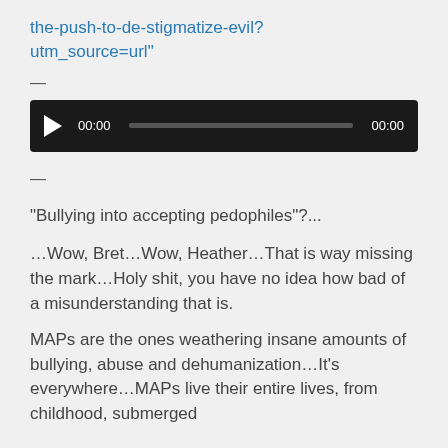the-push-to-de-stigmatize-evil?utm_source=url"
—
[Figure (other): Audio player widget with play button, timestamp 00:00, progress bar, and end time 00:00 on dark background]
—
“Bullying into accepting pedophiles”?...
…Wow, Bret…Wow, Heather…That is way missing the mark…Holy shit, you have no idea how bad of a misunderstanding that is.
MAPs are the ones weathering insane amounts of bullying, abuse and dehumanization…It’s everywhere…MAPs live their entire lives, from childhood, submerged